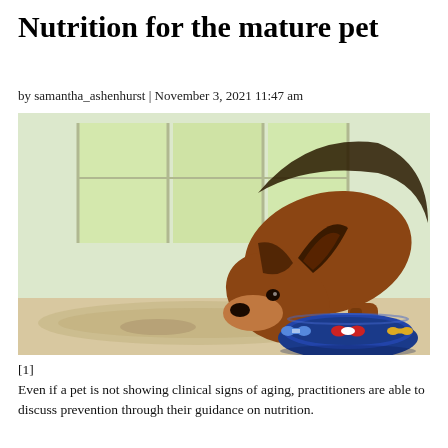Nutrition for the mature pet
by samantha_ashenhurst | November 3, 2021 11:47 am
[Figure (photo): A German Shepherd dog eating from a blue dog bowl decorated with colorful bone patterns, on a floor with a mat, bright window background.]
[1]
Even if a pet is not showing clinical signs of aging, practitioners are able to discuss prevention through their guidance on nutrition.